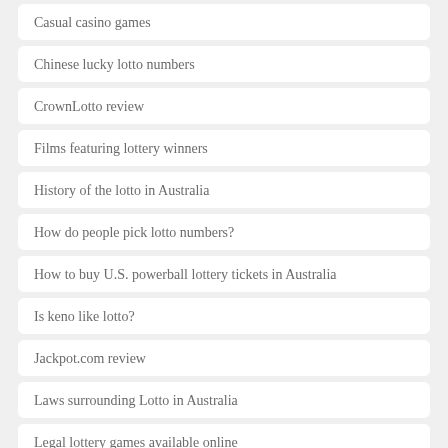Casual casino games
Chinese lucky lotto numbers
CrownLotto review
Films featuring lottery winners
History of the lotto in Australia
How do people pick lotto numbers?
How to buy U.S. powerball lottery tickets in Australia
Is keno like lotto?
Jackpot.com review
Laws surrounding Lotto in Australia
Legal lottery games available online
Live lottery online
Lotteries in New Zealand
Lottery scams to identify and avoid